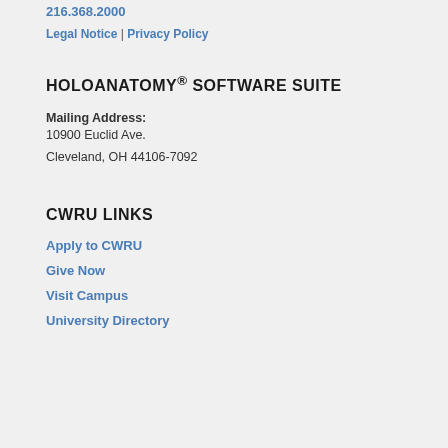216.368.2000
Legal Notice | Privacy Policy
HOLOANATOMY® SOFTWARE SUITE
Mailing Address:
10900 Euclid Ave.
Cleveland, OH 44106-7092
CWRU LINKS
Apply to CWRU
Give Now
Visit Campus
University Directory